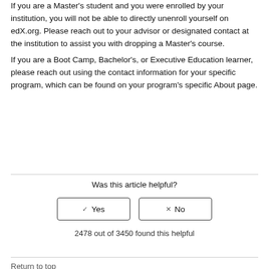If you are a Master's student and you were enrolled by your institution, you will not be able to directly unenroll yourself on edX.org. Please reach out to your advisor or designated contact at the institution to assist you with dropping a Master's course.
If you are a Boot Camp, Bachelor's, or Executive Education learner, please reach out using the contact information for your specific program, which can be found on your program's specific About page.
Was this article helpful?
✓ Yes   ✗ No
2478 out of 3450 found this helpful
Return to top